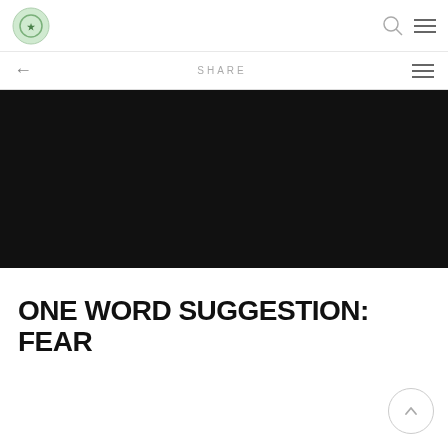logo and header icons
← SHARE ≡
[Figure (photo): Dark/black hero image banner, nearly fully black with no visible distinct subject.]
ONE WORD SUGGESTION: FEAR